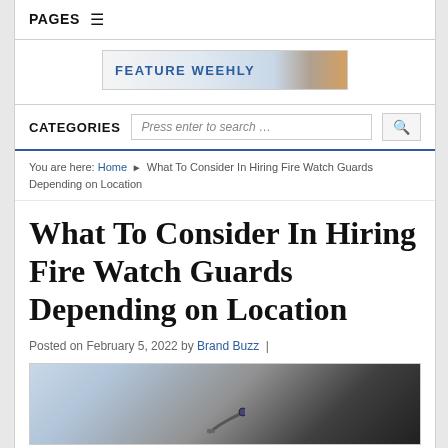PAGES ☰
[Figure (logo): Feature Weekly banner/logo advertisement]
CATEGORIES | Press enter to search ...
You are here: Home ▶ What To Consider In Hiring Fire Watch Guards Depending on Location
What To Consider In Hiring Fire Watch Guards Depending on Location
Posted on February 5, 2022 by Brand Buzz |
[Figure (photo): Firefighter with hose fighting a fire, dark smoke in background]